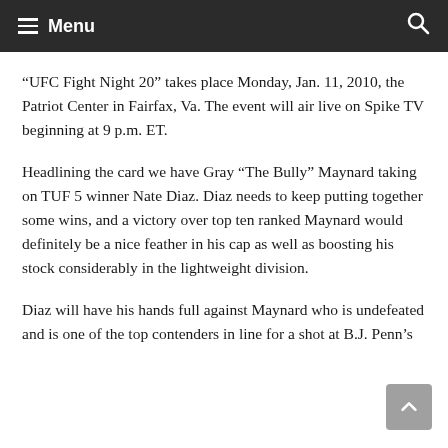Menu
“UFC Fight Night 20” takes place Monday, Jan. 11, 2010, the Patriot Center in Fairfax, Va. The event will air live on Spike TV beginning at 9 p.m. ET.
Headlining the card we have Gray “The Bully” Maynard taking on TUF 5 winner Nate Diaz. Diaz needs to keep putting together some wins, and a victory over top ten ranked Maynard would definitely be a nice feather in his cap as well as boosting his stock considerably in the lightweight division.
Diaz will have his hands full against Maynard who is undefeated and is one of the top contenders in line for a shot at B.J. Penn’s